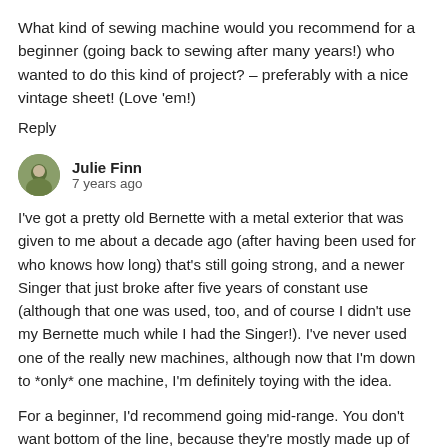What kind of sewing machine would you recommend for a beginner (going back to sewing after many years!) who wanted to do this kind of project? – preferably with a nice vintage sheet! (Love 'em!)
Reply
Julie Finn
7 years ago
I've got a pretty old Bernette with a metal exterior that was given to me about a decade ago (after having been used for who knows how long) that's still going strong, and a newer Singer that just broke after five years of constant use (although that one was used, too, and of course I didn't use my Bernette much while I had the Singer!). I've never used one of the really new machines, although now that I'm down to *only* one machine, I'm definitely toying with the idea.
For a beginner, I'd recommend going mid-range. You don't want bottom of the line, because they're mostly made up of junk and meant to snooker in people who don't know what they're looking for, but most people aren't ever going to use most of the features in a top